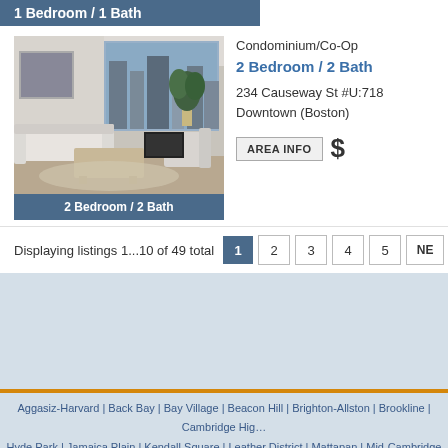1 Bedroom / 1 Bath
Condominium/Co-Op
2 Bedroom / 2 Bath
234 Causeway St #U:718
Downtown (Boston)
[Figure (photo): Interior photo of a modern living room with large windows, white sofa, coffee table, and city view]
2 Bedroom / 2 Bath
Displaying listings 1...10 of 49 total
Aggasiz-Harvard | Back Bay | Bay Village | Beacon Hill | Brighton-Allston | Brookline | Cambridge High... Hyde Park | Jamaica Plain | Kendall Square | Leather District | Mattapan | Mid-Cambridge | Mid-To... Roxbury | Seaport | South Boston | South Dorchester | South End | Theatre...